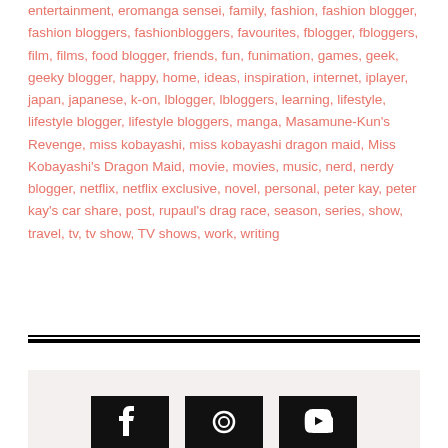entertainment, eromanga sensei, family, fashion, fashion blogger, fashion bloggers, fashionbloggers, favourites, fblogger, fbloggers, film, films, food blogger, friends, fun, funimation, games, geek, geeky blogger, happy, home, ideas, inspiration, internet, iplayer, japan, japanese, k-on, lblogger, lbloggers, learning, lifestyle, lifestyle blogger, lifestyle bloggers, manga, Masamune-Kun's Revenge, miss kobayashi, miss kobayashi dragon maid, Miss Kobayashi's Dragon Maid, movie, movies, music, nerd, nerdy blogger, netflix, netflix exclusive, novel, personal, peter kay, peter kay's car share, post, rupaul's drag race, season, series, show, travel, tv, tv show, TV shows, work, writing
[Figure (other): Social media icons bar at the bottom with Facebook, Pinterest/Instagram, and another social media icon on a light pinkish-beige background]